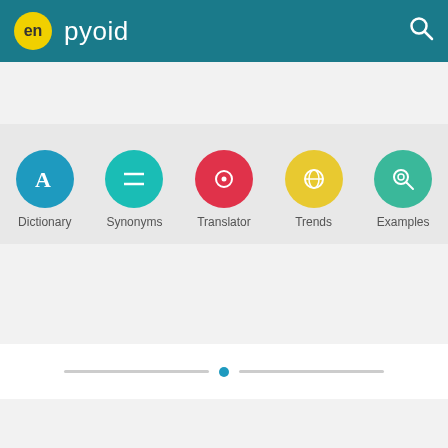en  pyoid
[Figure (screenshot): Navigation icon bar with Dictionary, Synonyms, Translator, Trends, Examples icons]
[Figure (infographic): Slider indicator with dot and horizontal lines]
WHAT DOES PYOID MEAN IN ENGLISH?
Definition of pyoid in the English
Educalingo cookies are used to personalize ads and get web traffic statistics. We also share information about the use of the site with our social media, advertising and analytics partners.
View details  Got it